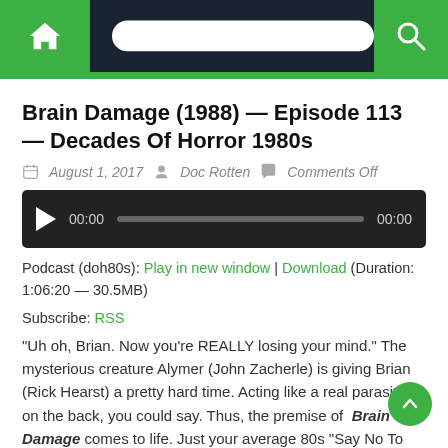Navigation bar with home, menu, and search icons
Brain Damage (1988) — Episode 113 — Decades Of Horror 1980s
August 1, 2017  Doc Rotten  Comments Off
[Figure (other): Audio player with play button, timestamp 00:00, progress bar, and end time 00:00]
Podcast (doh80s): Play in new window | Download (Duration: 1:06:20 — 30.5MB)
Subscribe: RSS
“Uh oh, Brian. Now you’re REALLY losing your mind.” The mysterious creature Alymer (John Zacherle) is giving Brian (Rick Hearst) a pretty hard time. Acting like a real parasite on the back, you could say. Thus, the premise of Brain Damage comes to life. Just your average 80s “Say No To Drugs” special. You got it all: the young relatable protagonist, a drug